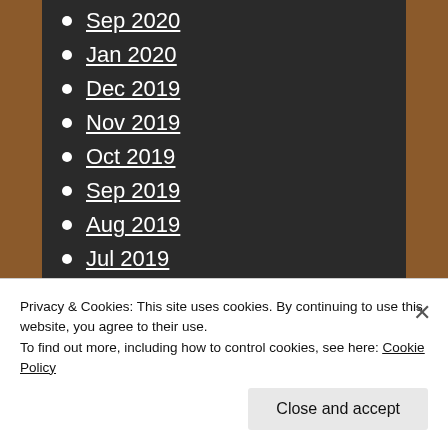Sep 2020
Jan 2020
Dec 2019
Nov 2019
Oct 2019
Sep 2019
Aug 2019
Jul 2019
Jun 2019
May 2019
Apr 2019
Mar 2019
Privacy & Cookies: This site uses cookies. By continuing to use this website, you agree to their use.
To find out more, including how to control cookies, see here: Cookie Policy